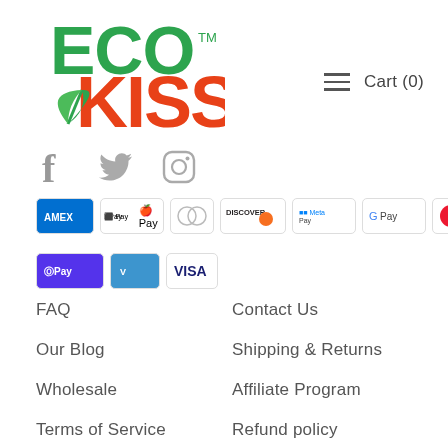[Figure (logo): ECO KISS logo — ECO in green, KISS in orange-red with a green leaf replacing the K]
Cart (0)
[Figure (infographic): Social media icons: Facebook, Twitter, Instagram]
[Figure (infographic): Payment method icons: Amex, Apple Pay, Diners Club, Discover, Meta Pay, Google Pay, Mastercard, PayPal, Shop Pay, Venmo, Visa]
FAQ
Contact Us
Our Blog
Shipping & Returns
Wholesale
Affiliate Program
Terms of Service
Refund policy